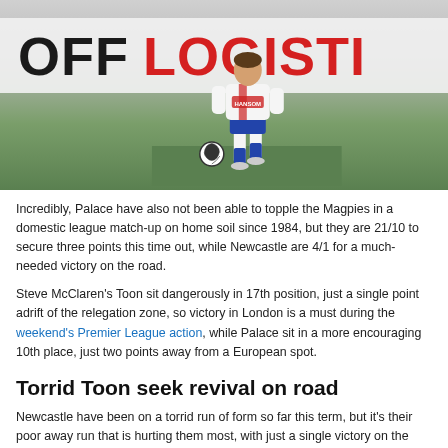[Figure (photo): A footballer in white and blue/red Crystal Palace strip dribbling a ball on a pitch, with advertising hoardings reading 'OFF LOGISTI' in the background]
Incredibly, Palace have also not been able to topple the Magpies in a domestic league match-up on home soil since 1984, but they are 21/10 to secure three points this time out, while Newcastle are 4/1 for a much-needed victory on the road.
Steve McClaren's Toon sit dangerously in 17th position, just a single point adrift of the relegation zone, so victory in London is a must during the weekend's Premier League action, while Palace sit in a more encouraging 10th place, just two points away from a European spot.
Torrid Toon seek revival on road
Newcastle have been on a torrid run of form so far this term, but it's their poor away run that is hurting them most, with just a single victory on the road so far, which came against Bournemouth recently. Although, they will